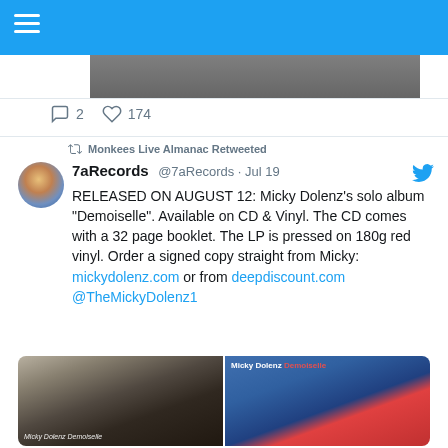[Figure (screenshot): Top portion of a Twitter/social media webpage showing a cropped photo at the top with a blue header bar and hamburger menu icon]
2   174
Monkees Live Almanac Retweeted
7aRecords @7aRecords · Jul 19
RELEASED ON AUGUST 12: Micky Dolenz's solo album "Demoiselle". Available on CD & Vinyl. The CD comes with a 32 page booklet. The LP is pressed on 180g red vinyl. Order a signed copy straight from Micky: mickydolenz.com or from deepdiscount.com @TheMickyDolenz1
[Figure (photo): Two photos side by side: left shows a person holding the Micky Dolenz Demoiselle album, right shows the album cover art featuring Micky Dolenz with a white hat]